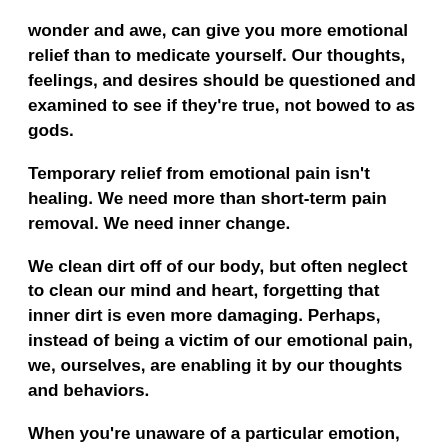wonder and awe, can give you more emotional relief than to medicate yourself. Our thoughts, feelings, and desires should be questioned and examined to see if they're true, not bowed to as gods.
Temporary relief from emotional pain isn't healing. We need more than short-term pain removal. We need inner change.
We clean dirt off of our body, but often neglect to clean our mind and heart, forgetting that inner dirt is even more damaging. Perhaps, instead of being a victim of our emotional pain, we, ourselves, are enabling it by our thoughts and behaviors.
When you're unaware of a particular emotion, you're not feeling it. Distract yourself from negative feelings; focus on positive...